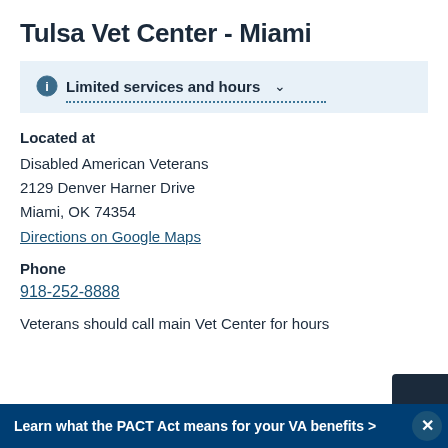Tulsa Vet Center - Miami
Limited services and hours
Located at
Disabled American Veterans
2129 Denver Harner Drive
Miami, OK 74354
Directions on Google Maps
Phone
918-252-8888
Veterans should call main Vet Center for hours
Learn what the PACT Act means for your VA benefits >